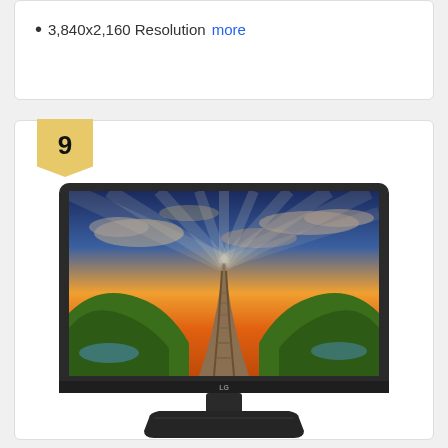3,840x2,160 Resolution  more
9
[Figure (photo): LG monitor/TV with landscape nature scene on screen showing a pathway through green hills with dramatic sunset sky, on a stand. LG logo visible on bezel.]